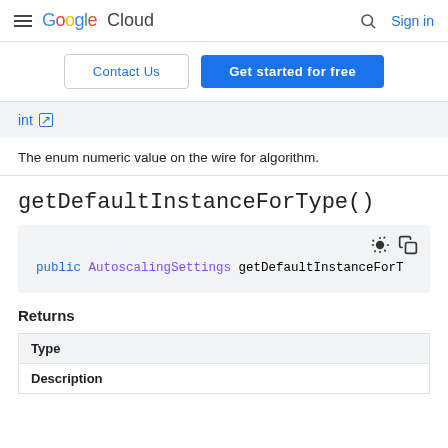Google Cloud  Sign in
Contact Us  Get started for free
int [external link]
The enum numeric value on the wire for algorithm.
getDefaultInstanceForType()
public AutoscalingSettings getDefaultInstanceForT
Returns
| Type | Description |
| --- | --- |